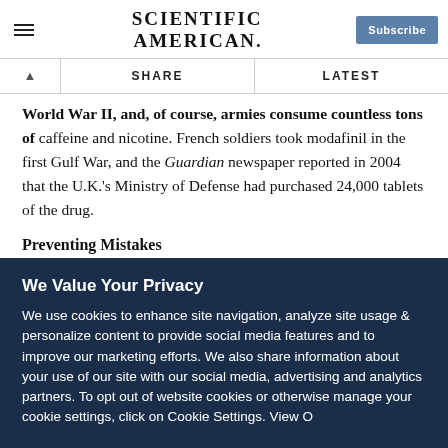SCIENTIFIC AMERICAN.
World War II, and, of course, armies consume countless tons of caffeine and nicotine. French soldiers took modafinil in the first Gulf War, and the Guardian newspaper reported in 2004 that the U.K.'s Ministry of Defense had purchased 24,000 tablets of the drug.
Preventing Mistakes
Despite the interest in modafinil, questions persist. Does it
We Value Your Privacy
We use cookies to enhance site navigation, analyze site usage & personalize content to provide social media features and to improve our marketing efforts. We also share information about your use of our site with our social media, advertising and analytics partners. To opt out of website cookies or otherwise manage your cookie settings, click on Cookie Settings. View O